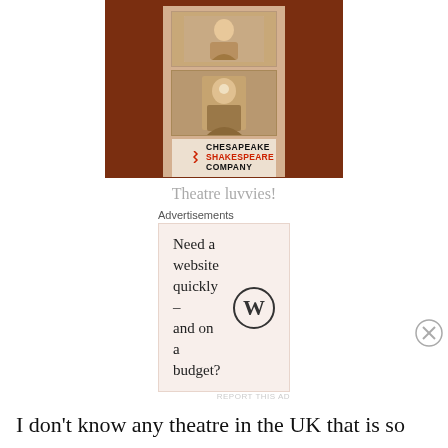[Figure (photo): A Chesapeake Shakespeare Company photo strip/bookmark showing two photos of a child in costume against a dark red/brown textured background]
Theatre luvvies!
Advertisements
[Figure (infographic): Advertisement: Need a website quickly – and on a budget? WordPress logo (W in circle)]
REPORT THIS AD
I don't know any theatre in the UK that is so very family orientated and caters for the kids in this way. It's
Advertisements
[Figure (infographic): Dark advertisement: F2 logo - Fewer meetings, more work.]
REPORT THIS AD